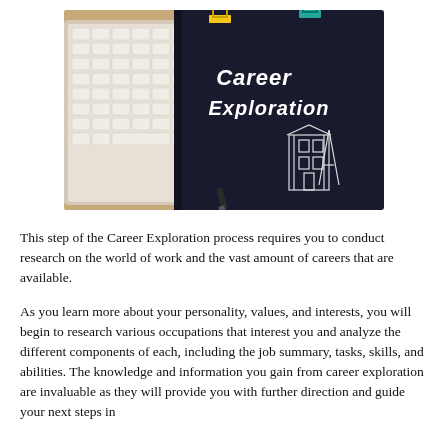[Figure (photo): A photo showing a keyboard and a dark notebook with 'Career Exploration' written in white chalk-style text, with colorful binder clips on top, on a tan/beige background.]
This step of the Career Exploration process requires you to conduct research on the world of work and the vast amount of careers that are available.
As you learn more about your personality, values, and interests, you will begin to research various occupations that interest you and analyze the different components of each, including the job summary, tasks, skills, and abilities. The knowledge and information you gain from career exploration are invaluable as they will provide you with further direction and guide your next steps in achieving your career goals.